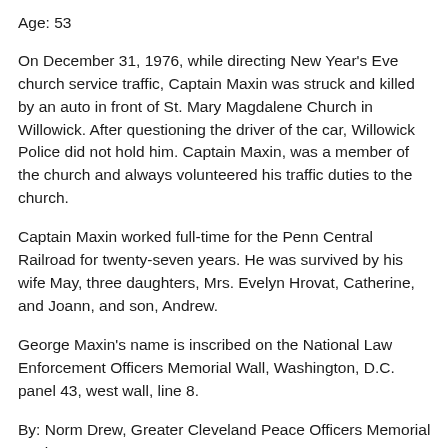Age: 53
On December 31, 1976, while directing New Year's Eve church service traffic, Captain Maxin was struck and killed by an auto in front of St. Mary Magdalene Church in Willowick. After questioning the driver of the car, Willowick Police did not hold him. Captain Maxin, was a member of the church and always volunteered his traffic duties to the church.
Captain Maxin worked full-time for the Penn Central Railroad for twenty-seven years. He was survived by his wife May, three daughters, Mrs. Evelyn Hrovat, Catherine, and Joann, and son, Andrew.
George Maxin's name is inscribed on the National Law Enforcement Officers Memorial Wall, Washington, D.C. panel 43, west wall, line 8.
By: Norm Drew, Greater Cleveland Peace Officers Memorial Society